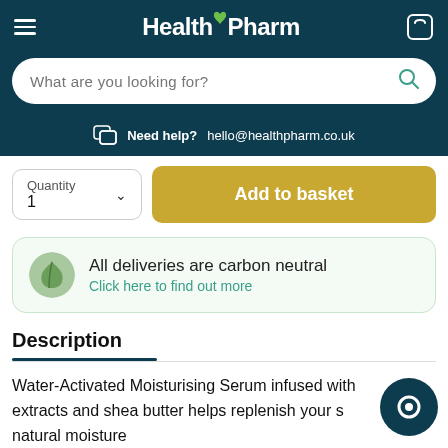HealthPharm
What are you looking for?
Need help? hello@healthpharm.co.uk
Quantity 1
Add to basket
All deliveries are carbon neutral
Click here to find out more
Description
Water-Activated Moisturising Serum infused with e extracts and shea butter helps replenish your s natural moisture